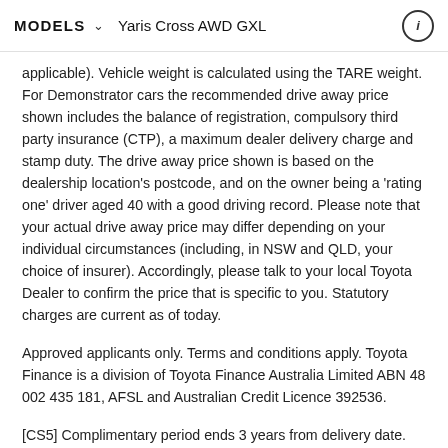MODELS  ∨  Yaris Cross AWD GXL
applicable). Vehicle weight is calculated using the TARE weight. For Demonstrator cars the recommended drive away price shown includes the balance of registration, compulsory third party insurance (CTP), a maximum dealer delivery charge and stamp duty. The drive away price shown is based on the dealership location's postcode, and on the owner being a 'rating one' driver aged 40 with a good driving record. Please note that your actual drive away price may differ depending on your individual circumstances (including, in NSW and QLD, your choice of insurer). Accordingly, please talk to your local Toyota Dealer to confirm the price that is specific to you. Statutory charges are current as of today.
Approved applicants only. Terms and conditions apply. Toyota Finance is a division of Toyota Finance Australia Limited ABN 48 002 435 181, AFSL and Australian Credit Licence 392536.
[CS5] Complimentary period ends 3 years from delivery date. For complete coverage, please refer to service from